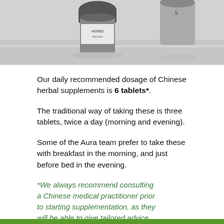[Figure (photo): Photo of Chinese herbal supplement pill bottles on a light grey surface, partially cropped at top]
Our daily recommended dosage of Chinese herbal supplements is 6 tablets*.
The traditional way of taking these is three tablets, twice a day (morning and evening).
Some of the Aura team prefer to take these with breakfast in the morning, and just before bed in the evening.
*We always recommend consulting a Chinese medical practitioner prior to starting supplementation, as they will be able to give tailored advice on your personal recommended daily dosage.
How Long Does Each Formula Last For?